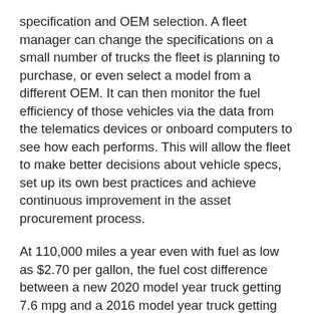specification and OEM selection. A fleet manager can change the specifications on a small number of trucks the fleet is planning to purchase, or even select a model from a different OEM. It can then monitor the fuel efficiency of those vehicles via the data from the telematics devices or onboard computers to see how each performs. This will allow the fleet to make better decisions about vehicle specs, set up its own best practices and achieve continuous improvement in the asset procurement process.
At 110,000 miles a year even with fuel as low as $2.70 per gallon, the fuel cost difference between a new 2020 model year truck getting 7.6 mpg and a 2016 model year truck getting 6.84 mpg is about $362 per month. That is $4,344 per year for one truck.